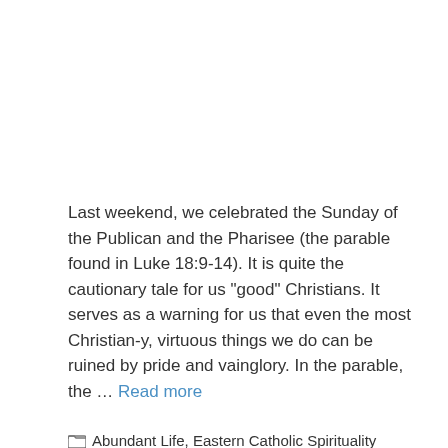Last weekend, we celebrated the Sunday of the Publican and the Pharisee (the parable found in Luke 18:9-14). It is quite the cautionary tale for us "good" Christians. It serves as a warning for us that even the most Christian-y, virtuous things we do can be ruined by pride and vainglory. In the parable, the … Read more
Abundant Life, Eastern Catholic Spirituality
Catholic, Christian, Eastern, Evil Thoughts,